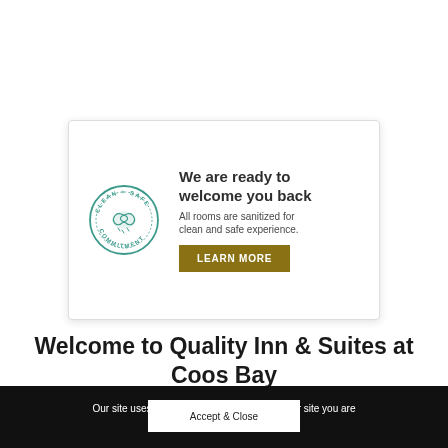[Figure (logo): Clean + Safe Commitment circular badge with hands wiping icon in teal/green]
We are ready to welcome you back
All rooms are sanitized for clean and safe experience.
LEARN MORE
Welcome to Quality Inn & Suites at Coos Bay
Our site uses cookies. By continuing to use our site you are agreeing to our cookie policy.
Accept & Close